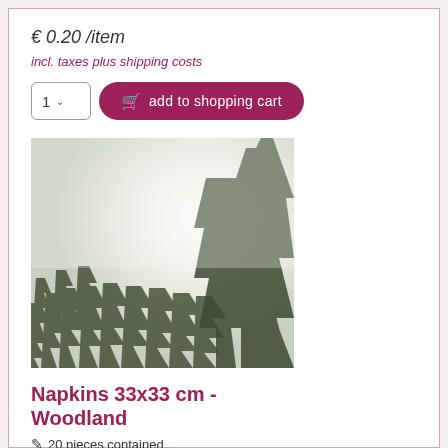€ 0.20 /item
incl. taxes plus shipping costs
[Figure (other): Quantity selector dropdown showing '1' and 'add to shopping cart' button with cart icon on dark pink/magenta background]
[Figure (photo): Snow-covered evergreen pine trees in a winter woodland scene, misty white sky background, trees arranged in a fan-like radiating pattern]
Napkins 33x33 cm - Woodland
20 pieces contained